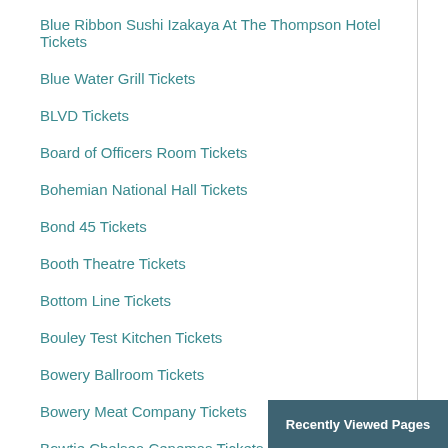Blue Ribbon Sushi Izakaya At The Thompson Hotel Tickets
Blue Water Grill Tickets
BLVD Tickets
Board of Officers Room Tickets
Bohemian National Hall Tickets
Bond 45 Tickets
Booth Theatre Tickets
Bottom Line Tickets
Bouley Test Kitchen Tickets
Bowery Ballroom Tickets
Bowery Meat Company Tickets
Bowtie Chelsea Cenemas Tickets
Broadhurst Theatre Tickets
Broadway Comedy Club Tickets
Broadway Theatre - New York Tickets
Brooks Atkinson Theatre Tickets
Recently Viewed Pages